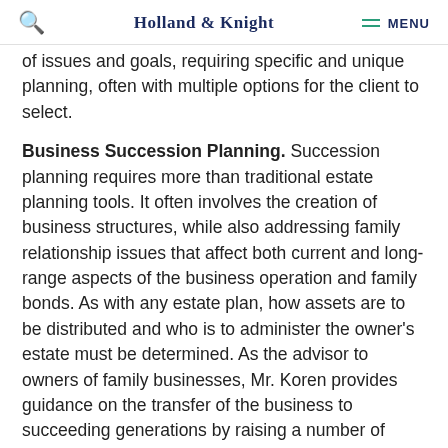Holland & Knight — MENU
of issues and goals, requiring specific and unique planning, often with multiple options for the client to select.
Business Succession Planning. Succession planning requires more than traditional estate planning tools. It often involves the creation of business structures, while also addressing family relationship issues that affect both current and long-range aspects of the business operation and family bonds. As with any estate plan, how assets are to be distributed and who is to administer the owner's estate must be determined. As the advisor to owners of family businesses, Mr. Koren provides guidance on the transfer of the business to succeeding generations by raising a number of difficult issues: